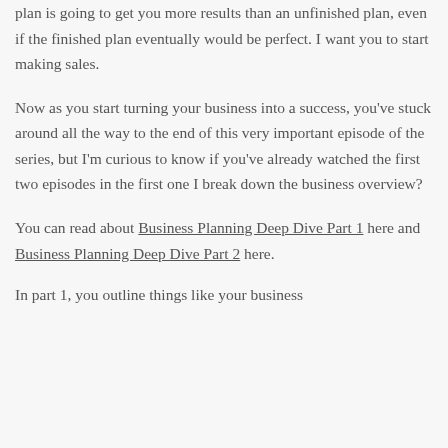plan is going to get you more results than an unfinished plan, even if the finished plan eventually would be perfect. I want you to start making sales.
Now as you start turning your business into a success, you've stuck around all the way to the end of this very important episode of the series, but I'm curious to know if you've already watched the first two episodes in the first one I break down the business overview?
You can read about Business Planning Deep Dive Part 1 here and Business Planning Deep Dive Part 2 here.
In part 1, you outline things like your business...